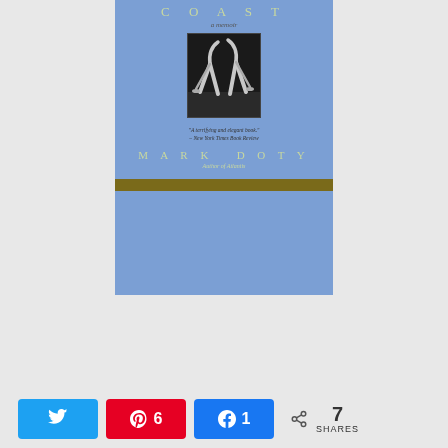[Figure (illustration): Book cover for a memoir titled 'COAST' by Mark Doty. Blue background. Subtitle reads 'a memoir'. Center features a black and white photo of two figures in a crouched dance pose. Quote below photo reads '"A terrifying and elegant book." — New York Times Book Review'. Author name 'MARK DOTY' in large spaced caps. Below: 'Author of Atlantis'. Bottom band is dark olive/gold.]
[Figure (screenshot): Social sharing bar with Twitter, Pinterest (showing count 6), and Facebook (showing count 1) buttons, plus share icon with total 7 SHARES]